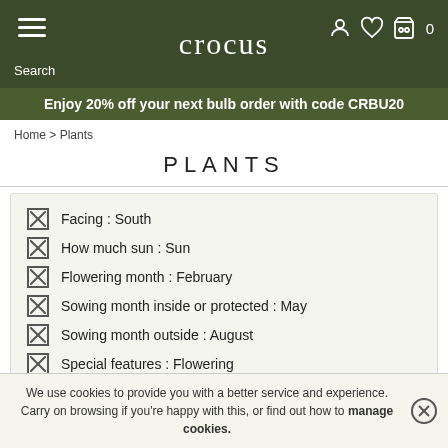crocus
Enjoy 20% off your next bulb order with code CRBU20
Home > Plants
PLANTS
Facing : South
How much sun : Sun
Flowering month : February
Sowing month inside or protected : May
Sowing month outside : August
Special features : Flowering
Position : Next to an entrance
We use cookies to provide you with a better service and experience. Carry on browsing if you're happy with this, or find out how to manage cookies.